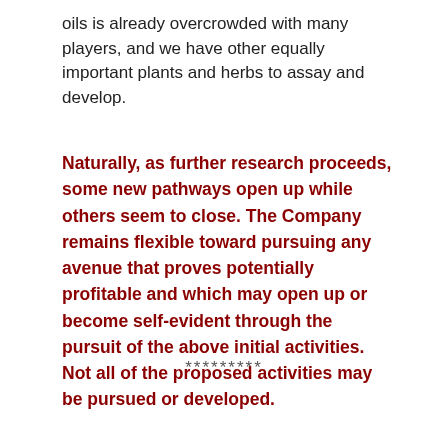oils is already overcrowded with many players, and we have other equally important plants and herbs to assay and develop.
Naturally, as further research proceeds, some new pathways open up while others seem to close. The Company remains flexible toward pursuing any avenue that proves potentially profitable and which may open up or become self-evident through the pursuit of the above initial activities. Not all of the proposed activities may be pursued or developed.
*********